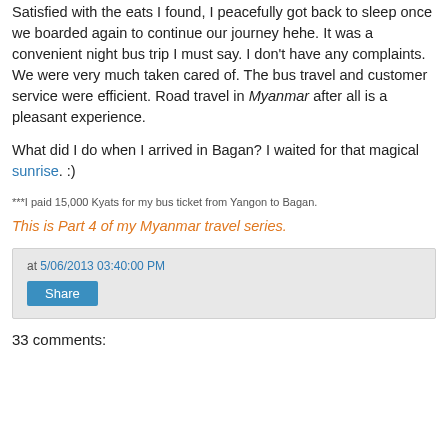Satisfied with the eats I found, I peacefully got back to sleep once we boarded again to continue our journey hehe. It was a convenient night bus trip I must say. I don't have any complaints. We were very much taken cared of. The bus travel and customer service were efficient. Road travel in Myanmar after all is a pleasant experience.
What did I do when I arrived in Bagan? I waited for that magical sunrise. :)
***I paid 15,000 Kyats for my bus ticket from Yangon to Bagan.
This is Part 4 of my Myanmar travel series.
at 5/06/2013 03:40:00 PM
Share
33 comments: